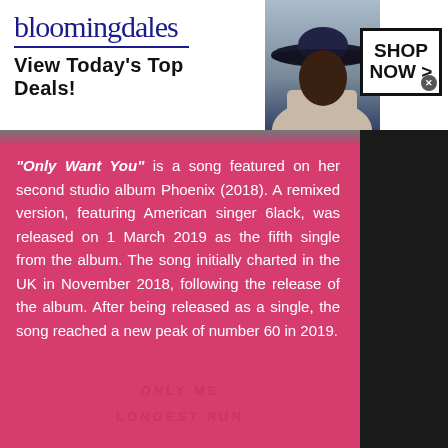[Figure (screenshot): Bloomingdale's advertisement banner: logo, 'View Today's Top Deals!' tagline, model with hat, and 'SHOP NOW >' button]
"Only Want You" is a song featured on her second studio album Phoenix (2018). A remixed version, featuring American singer 6lack, was released on 1 March 2019 as the fifth single from the album. The song initially charted in the UK in November 2018, following the release of the album. After being released as a single, the song reached a new peak of number 60 in 2019.
Buy | Music Video
[Figure (screenshot): Frontgate SALES advertisement: 'up to 50% off', frontgate.com, outdoor furniture image, navigation arrow button]